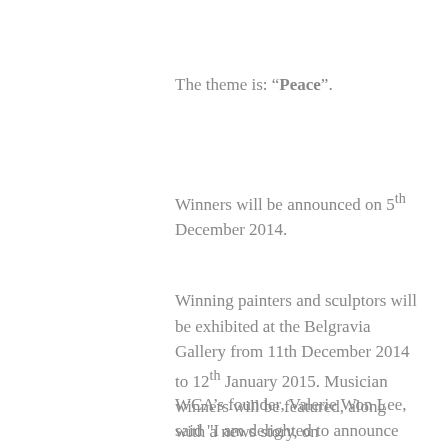The theme is: “Peace”.
Winners will be announced on 5th December 2014.
Winning painters and sculptors will be exhibited at the Belgravia Gallery from 11th December 2014 to 12th January 2015. Musician winners will be featured, along with a news story, on playingforchange.org and on social media channels.
WCA’s founder, Valerie Won Lee, said "I am delighted to announce the opening of a